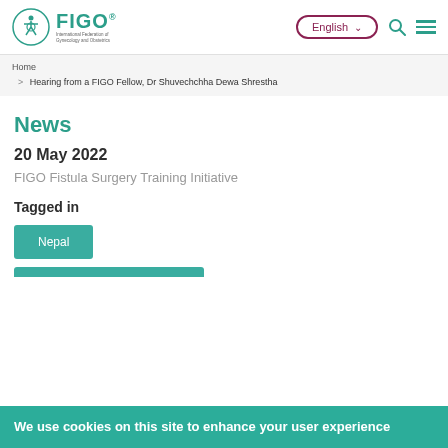FIGO | International Federation of Gynecology and Obstetrics — English navigation header
Home > Hearing from a FIGO Fellow, Dr Shuvechchha Dewa Shrestha
News
20 May 2022
FIGO Fistula Surgery Training Initiative
Tagged in
Nepal
We use cookies on this site to enhance your user experience